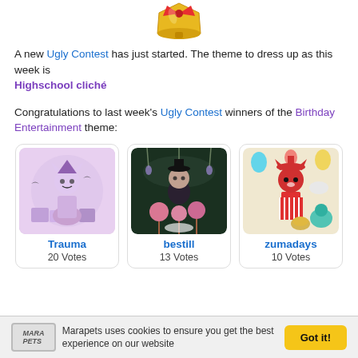[Figure (illustration): Partial illustration of a golden bell or trophy at the top center of the page]
A new Ugly Contest has just started. The theme to dress up as this week is Highschool cliché
Congratulations to last week's Ugly Contest winners of the Birthday Entertainment theme:
[Figure (illustration): Three contest winner cards side by side. First: Trauma character with purple cat-witch theme, 20 Votes. Second: bestill character with dark floral birthday theme, 13 Votes. Third: zumadays character with clown/carnival theme, 10 Votes.]
Trauma
20 Votes
bestill
13 Votes
zumadays
10 Votes
Marapets uses cookies to ensure you get the best experience on our website